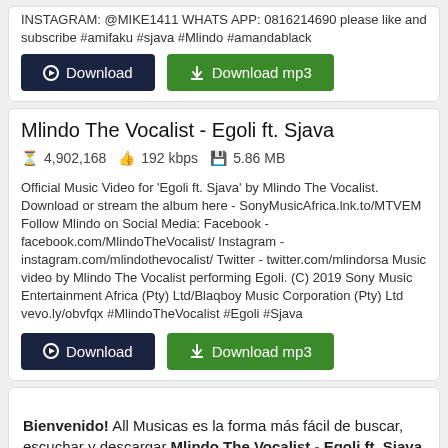INSTAGRAM: @MIKE1411 WHATS APP: 0816214690 please like and subscribe #amifaku #sjava #Mlindo #amandablack
Download | Download mp3
Mlindo The Vocalist - Egoli ft. Sjava
4,902,168  192 kbps  5.86 MB
Official Music Video for 'Egoli ft. Sjava' by Mlindo The Vocalist. Download or stream the album here - SonyMusicAfrica.lnk.to/MTVEM Follow Mlindo on Social Media: Facebook - facebook.com/MlindoTheVocalist/ Instagram - instagram.com/mlindothevocalist/ Twitter - twitter.com/mlindorsa Music video by Mlindo The Vocalist performing Egoli. (C) 2019 Sony Music Entertainment Africa (Pty) Ltd/Blaqboy Music Corporation (Pty) Ltd vevo.ly/obvfqx #MlindoTheVocalist #Egoli #Sjava
Download | Download mp3
Bienvenido! All Musicas es la forma más fácil de buscar, escuchar y descargar Mlindo The Vocalist - Egoli ft. Sjava tu música favorita gratis y sin limites. Con un tiempo de duracion un total de minutos y con una cantidad increible de reproducciones que sigue en aumento al pasar los segundos y minutos.
1. te recomdenamosististar...